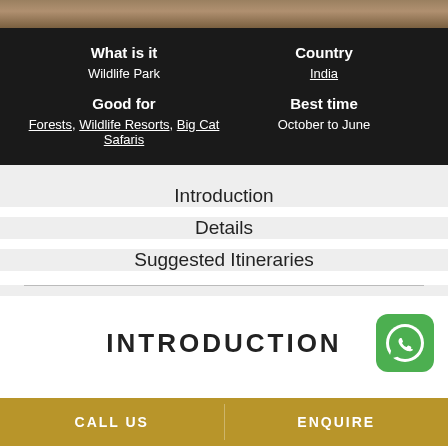[Figure (photo): Animal fur/wildlife photo strip at the top]
| What is it | Country |
| --- | --- |
| Wildlife Park | India |
| Good for | Best time |
| Forests, Wildlife Resorts, Big Cat Safaris | October to June |
Introduction
Details
Suggested Itineraries
INTRODUCTION
[Figure (logo): WhatsApp green icon button]
CALL US   ENQUIRE